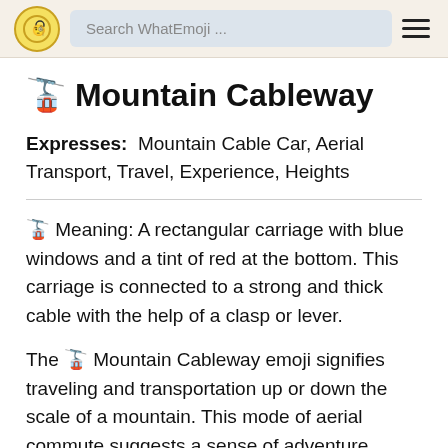Search WhatEmoji ...
🚡 Mountain Cableway
Expresses: Mountain Cable Car, Aerial Transport, Travel, Experience, Heights
🚡 Meaning: A rectangular carriage with blue windows and a tint of red at the bottom. This carriage is connected to a strong and thick cable with the help of a clasp or lever.
The 🚡 Mountain Cableway emoji signifies traveling and transportation up or down the scale of a mountain. This mode of aerial commute suggests a sense of adventure